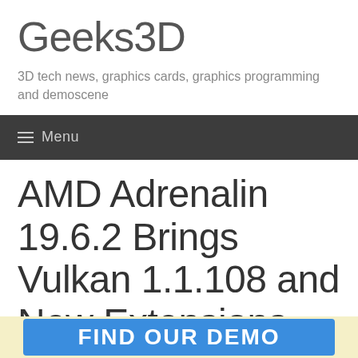Geeks3D
3D tech news, graphics cards, graphics programming and demoscene
Menu
AMD Adrenalin 19.6.2 Brings Vulkan 1.1.108 and New Extensions
2019/06/18  JEGX